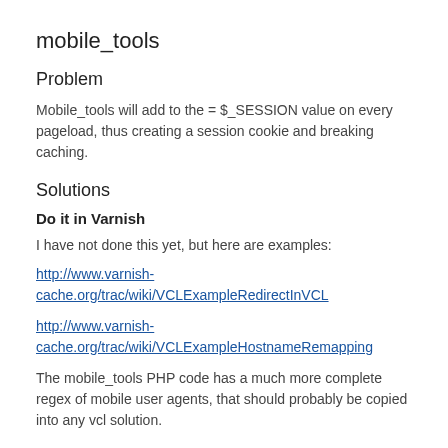mobile_tools
Problem
Mobile_tools will add to the = $_SESSION value on every pageload, thus creating a session cookie and breaking caching.
Solutions
Do it in Varnish
I have not done this yet, but here are examples:
http://www.varnish-cache.org/trac/wiki/VCLExampleRedirectInVCL
http://www.varnish-cache.org/trac/wiki/VCLExampleHostnameRemapping
The mobile_tools PHP code has a much more complete regex of mobile user agents, that should probably be copied into any vcl solution.